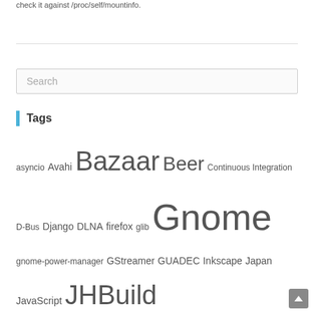check it against /proc/self/mountinfo.
Tags
asyncio Avahi Bazaar Beer Continuous Integration D-Bus Django DLNA firefox glib Gnome gnome-power-manager GStreamer GUADEC Inkscape Japan JavaScript JHBuild Launchpad lca2009 lca2011 Linux linux.conf.au Loom mozilla OAuth OpenID PlayStation 3 PLUG PostgreSQL Python